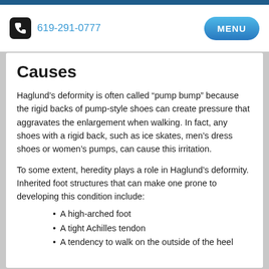619-291-0777  MENU
Causes
Haglund’s deformity is often called “pump bump” because the rigid backs of pump-style shoes can create pressure that aggravates the enlargement when walking. In fact, any shoes with a rigid back, such as ice skates, men’s dress shoes or women’s pumps, can cause this irritation.
To some extent, heredity plays a role in Haglund’s deformity. Inherited foot structures that can make one prone to developing this condition include:
A high-arched foot
A tight Achilles tendon
A tendency to walk on the outside of the heel